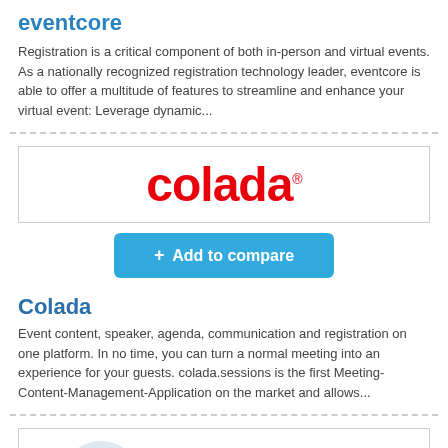eventcore
Registration is a critical component of both in-person and virtual events. As a nationally recognized registration technology leader, eventcore is able to offer a multitude of features to streamline and enhance your virtual event: Leverage dynamic...
[Figure (logo): Colada logo — red bold text 'colada' with registered trademark symbol in a bordered box]
[Figure (other): Blue 'Add to compare' button with plus sign]
Colada
Event content, speaker, agenda, communication and registration on one platform. In no time, you can turn a normal meeting into an experience for your guests. colada.sessions is the first Meeting-Content-Management-Application on the market and allows...
[Figure (logo): Partial logo at bottom with a basket/shopping icon in a light blue circle with chevron]